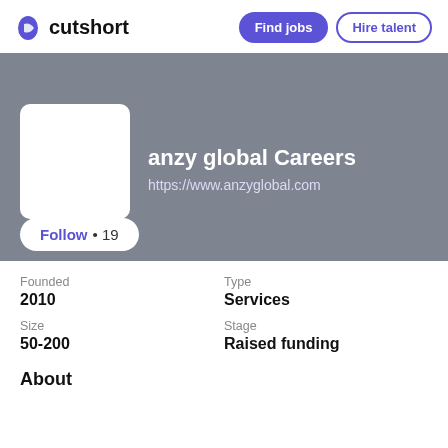cutshort | Find jobs | Hire talent
[Figure (screenshot): Company profile banner with white logo placeholder box, company name 'anzy global Careers', URL 'https://www.anzyglobal.com', and Follow button with 19 followers]
Founded
2010
Type
Services
Size
50-200
Stage
Raised funding
About